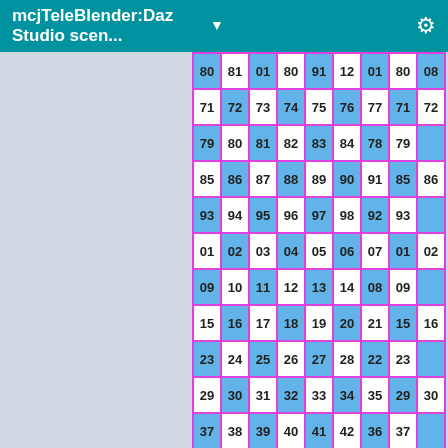mcjTeleBlender:Daz Studio scen... ▼
[Figure (other): Checkerboard grid of numbered cells alternating white and blue with pink/magenta borders, showing numbers 71-72, 79-80, 85-86, 93-94, 01-02, 09-10, 15-16, 23-24, 29-30, 37-38, 43-44, 51-52 etc.]